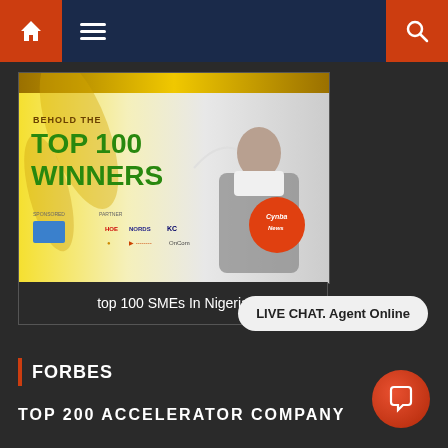Navigation bar with home, menu and search icons
[Figure (photo): Promotional image showing 'BEHOLD THE TOP 100 WINNERS' text in green with a man celebrating, sponsor logos, and Cynba News overlay logo]
top 100 SMEs In Nigeria
LIVE CHAT. Agent Online
FORBES
TOP 200 ACCELERATOR COMPANY